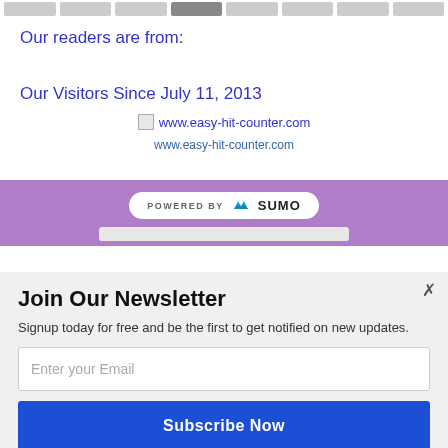[Figure (other): Navigation tab bar with multiple grey tab items, one highlighted in darker grey]
Our readers are from:
Our Visitors Since July 11, 2013
[Figure (other): Broken image placeholder with link text www.easy-hit-counter.com]
www.easy-hit-counter.com
[Figure (other): Purple banner with POWERED BY SUMO badge in a white pill shape]
Join Our Newsletter
Signup today for free and be the first to get notified on new updates.
[Figure (other): Email input field with placeholder text 'Enter your Email']
[Figure (other): Blue Subscribe Now button]